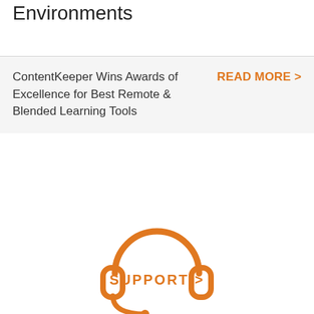Environments
ContentKeeper Wins Awards of Excellence for Best Remote & Blended Learning Tools
READ MORE >
[Figure (illustration): Orange headset/support icon with microphone boom]
SUPPORT >